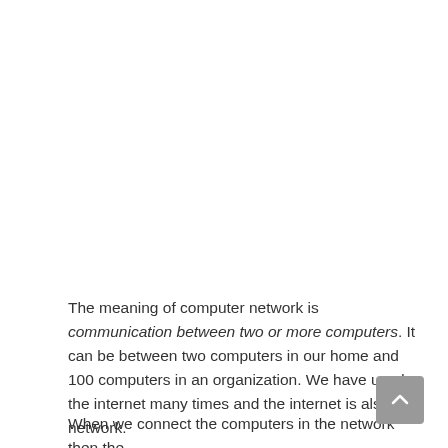The meaning of computer network is communication between two or more computers. It can be between two computers in our home and 100 computers in an organization. We have used the internet many times and the internet is also a network.
When we connect the computers in the network then the